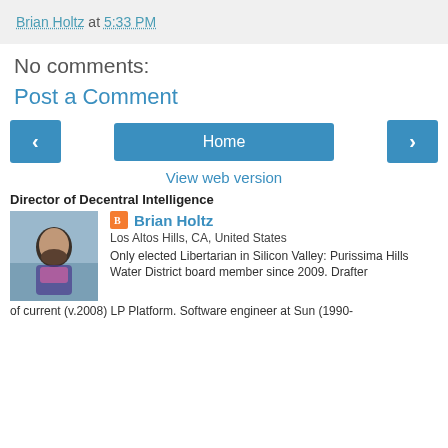Brian Holtz at 5:33 PM
No comments:
Post a Comment
Home
View web version
Director of Decentral Intelligence
Brian Holtz
Los Altos Hills, CA, United States
Only elected Libertarian in Silicon Valley: Purissima Hills Water District board member since 2009. Drafter of current (v.2008) LP Platform. Software engineer at Sun (1990-